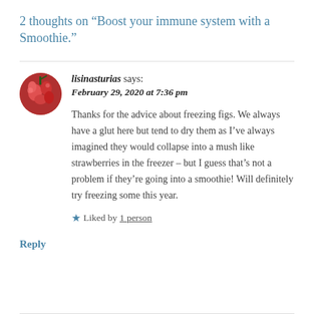2 thoughts on “Boost your immune system with a Smoothie.”
lisinasturias says:
February 29, 2020 at 7:36 pm
Thanks for the advice about freezing figs. We always have a glut here but tend to dry them as I’ve always imagined they would collapse into a mush like strawberries in the freezer – but I guess that’s not a problem if they’re going into a smoothie! Will definitely try freezing some this year.
★ Liked by 1 person
Reply